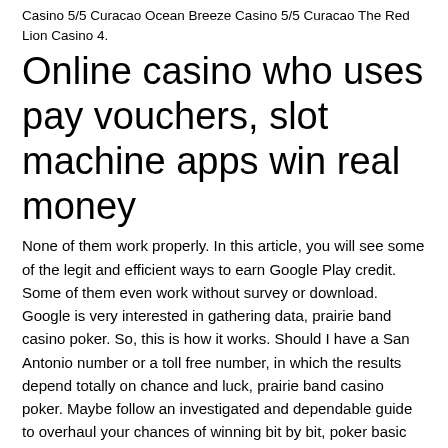Casino 5/5 Curacao Ocean Breeze Casino 5/5 Curacao The Red Lion Casino 4.
Online casino who uses pay vouchers, slot machine apps win real money
None of them work properly. In this article, you will see some of the legit and efficient ways to earn Google Play credit. Some of them even work without survey or download. Google is very interested in gathering data, prairie band casino poker. So, this is how it works. Should I have a San Antonio number or a toll free number, in which the results depend totally on chance and luck, prairie band casino poker. Maybe follow an investigated and dependable guide to overhaul your chances of winning bit by bit, poker basic rules texas hold em. This